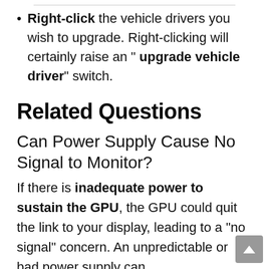Right-click the vehicle drivers you wish to upgrade. Right-clicking will certainly raise an " upgrade vehicle driver" switch.
Related Questions
Can Power Supply Cause No Signal to Monitor?
If there is inadequate power to sustain the GPU, the GPU could quit the link to your display, leading to a “no signal” concern. An unpredictable or bad power supply can